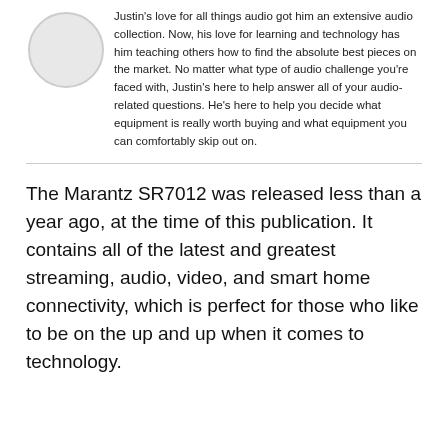Justin's love for all things audio got him an extensive audio collection. Now, his love for learning and technology has him teaching others how to find the absolute best pieces on the market. No matter what type of audio challenge you're faced with, Justin's here to help answer all of your audio-related questions. He's here to help you decide what equipment is really worth buying and what equipment you can comfortably skip out on.
The Marantz SR7012 was released less than a year ago, at the time of this publication. It contains all of the latest and greatest streaming, audio, video, and smart home connectivity, which is perfect for those who like to be on the up and up when it comes to technology.